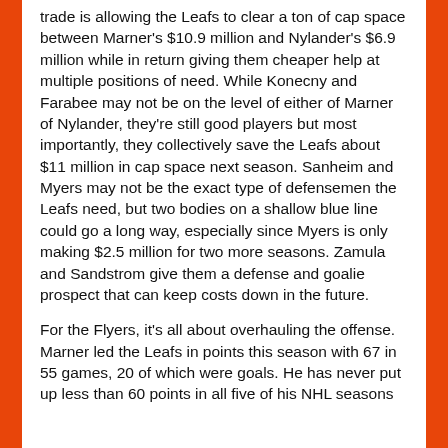trade is allowing the Leafs to clear a ton of cap space between Marner's $10.9 million and Nylander's $6.9 million while in return giving them cheaper help at multiple positions of need. While Konecny and Farabee may not be on the level of either of Marner of Nylander, they're still good players but most importantly, they collectively save the Leafs about $11 million in cap space next season. Sanheim and Myers may not be the exact type of defensemen the Leafs need, but two bodies on a shallow blue line could go a long way, especially since Myers is only making $2.5 million for two more seasons. Zamula and Sandstrom give them a defense and goalie prospect that can keep costs down in the future.
For the Flyers, it's all about overhauling the offense. Marner led the Leafs in points this season with 67 in 55 games, 20 of which were goals. He has never put up less than 60 points in all five of his NHL seasons